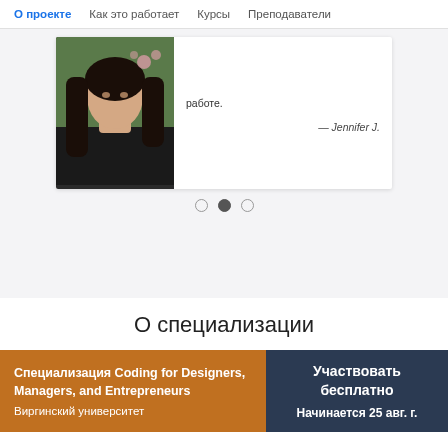О проекте  Как это работает  Курсы  Преподаватели
[Figure (photo): Testimonial card with a photo of a young woman with long dark hair wearing a black top, with a quote ending in 'работе.' attributed to — Jennifer J.]
○ ● ○
О специализации
Специализация Coding for Designers, Managers, and Entrepreneurs
Виргинский университет
Участвовать бесплатно
Начинается 25 авг. г.